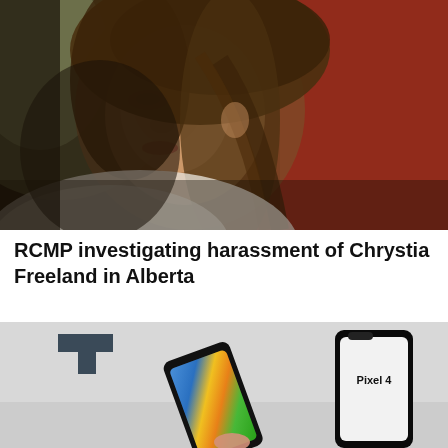[Figure (photo): Portrait photo of Chrystia Freeland looking upward, with long brown hair and a light-colored jacket, against a dark background with red blur on the right side]
RCMP investigating harassment of Chrystia Freeland in Alberta
[Figure (photo): Photo of two Google Pixel 4 smartphones being displayed, one tilted showing a colorful screen, one upright showing Pixel 4 label, against a gray background with a dark T-shaped logo in the upper left]